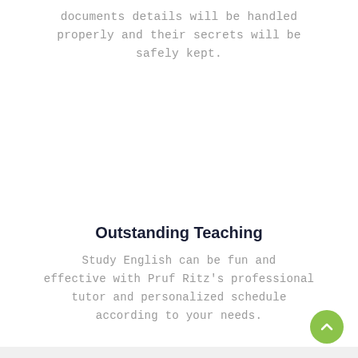documents details will be handled properly and their secrets will be safely kept.
Outstanding Teaching
Study English can be fun and effective with Pruf Ritz's professional tutor and personalized schedule according to your needs.